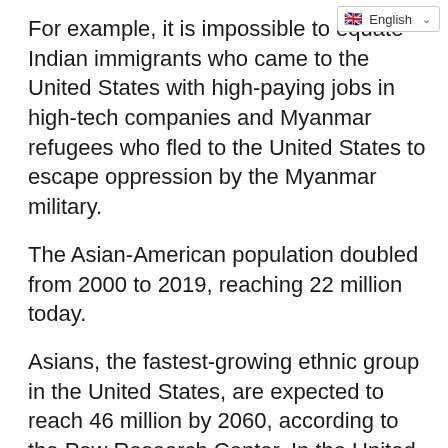For example, it is impossible to equate Indian immigrants who came to the United States with high-paying jobs in high-tech companies and Myanmar refugees who fled to the United States to escape oppression by the Myanmar military.
The Asian-American population doubled from 2000 to 2019, reaching 22 million today.
Asians, the fastest-growing ethnic group in the United States, are expected to reach 46 million by 2060, according to the Pew Research Center. In the United States, Asians are portrayed biasedly as the epitome of highly educated, wealthy and successful immigrants.
As we generalize only a few cases, the Pew